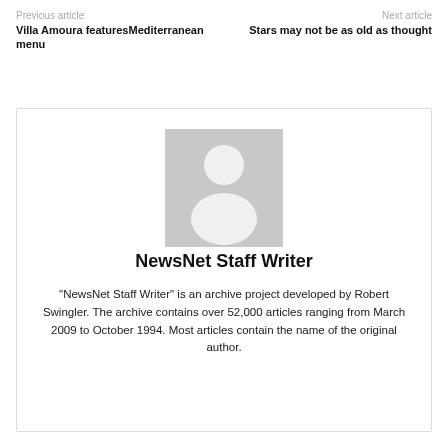Previous article | Next article
Villa Amoura featuresMediterranean menu
Stars may not be as old as thought
[Figure (illustration): Generic grey placeholder avatar silhouette showing a person outline (head and shoulders) on a grey background]
NewsNet Staff Writer
"NewsNet Staff Writer" is an archive project developed by Robert Swingler. The archive contains over 52,000 articles ranging from March 2009 to October 1994. Most articles contain the name of the original author.